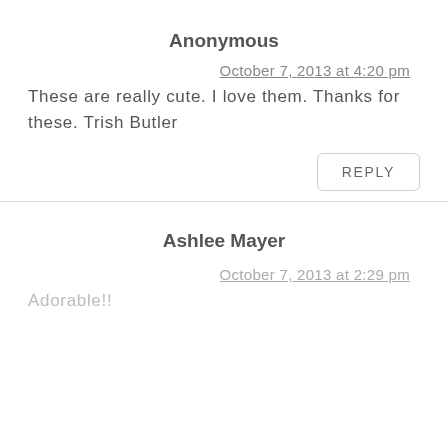Anonymous
October 7, 2013 at 4:20 pm
These are really cute. I love them. Thanks for these. Trish Butler
REPLY
Ashlee Mayer
October 7, 2013 at 2:29 pm
Adorable!!